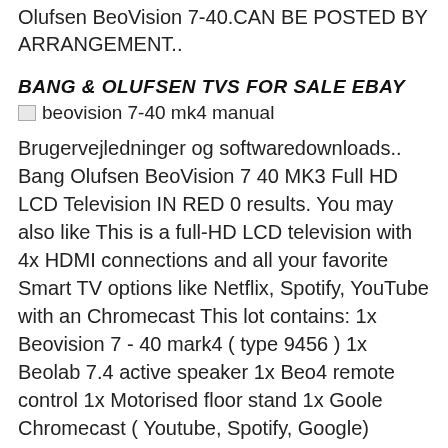Olufsen BeoVision 7-40.CAN BE POSTED BY ARRANGEMENT..
BANG & OLUFSEN TVS FOR SALE EBAY
[Figure (photo): Placeholder image for beovision 7-40 mk4 manual]
Brugervejledninger og softwaredownloads.. Bang Olufsen BeoVision 7 40 MK3 Full HD LCD Television IN RED 0 results. You may also like This is a full-HD LCD television with 4x HDMI connections and all your favorite Smart TV options like Netflix, Spotify, YouTube with an Chromecast This lot contains: 1x Beovision 7 - 40 mark4 ( type 9456 ) 1x Beolab 7.4 active speaker 1x Beo4 remote control 1x Motorised floor stand 1x Goole Chromecast ( Youtube, Spotify, Google) BeoVision 7 - 40 MARK 4 Full-HD Television This